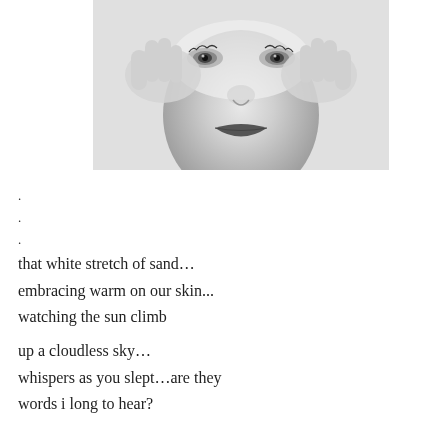[Figure (photo): Black and white close-up photograph of a woman's face, hands pressed against both sides of her face near her temples, eyes looking forward, dark lips prominent.]
.
.
.
that white stretch of sand…
embracing warm on our skin...
watching the sun climb

up a cloudless sky…
whispers as you slept…are they
words i long to hear?